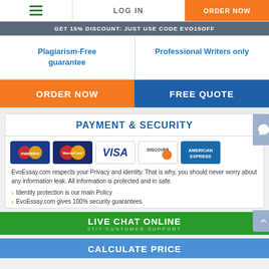LOG IN | ORDER NOW
GET 15% DISCOUNT: JUST USE CODE EVO15OFF
Plagiarism-Free guarantee
Professional Writers only
ORDER NOW
FREE QUOTE
PAYMENT & SECURITY
[Figure (other): Payment method logos: Maestro, MasterCard, Visa, Discover, American Express]
EvoEssay.com respects your Privacy and identity. That is why, you should never worry about any information leak. All information is protected and in safe.
Identity protection is our main Policy
EvoEssay.com gives 100% security guarantees
LIVE CHAT ONLINE
27/7 CUSTUMER SUPPORT
CALCULATE PRICE